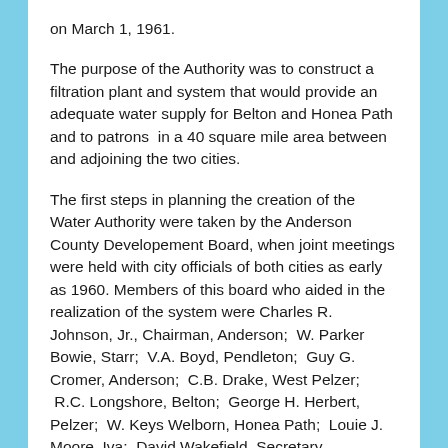on March 1, 1961.
The purpose of the Authority was to construct a filtration plant and system that would provide an adequate water supply for Belton and Honea Path and to patrons in a 40 square mile area between and adjoining the two cities.
The first steps in planning the creation of the Water Authority were taken by the Anderson County Developement Board, when joint meetings were held with city officials of both cities as early as 1960. Members of this board who aided in the realization of the system were Charles R. Johnson, Jr., Chairman, Anderson;  W. Parker Bowie, Starr;  V.A. Boyd, Pendleton;  Guy G. Cromer, Anderson;  C.B. Drake, West Pelzer;  R.C. Longshore, Belton;  George H. Herbert, Pelzer;  W. Keys Welborn, Honea Path;  Louie J. Moore, Iva;  David Wakefield, Secretary, Anderson;  and Berry Davenport of Williamston.